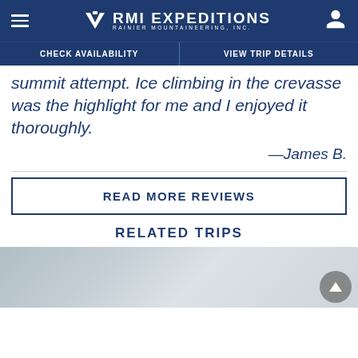RMI EXPEDITIONS — RAINIER MOUNTAINEERING, INC.
CHECK AVAILABILITY | VIEW TRIP DETAILS
summit attempt. Ice climbing in the crevasse was the highlight for me and I enjoyed it thoroughly.
—James B.
READ MORE REVIEWS
RELATED TRIPS
[Figure (photo): Mountain/snow landscape photo used as a trip image thumbnail]